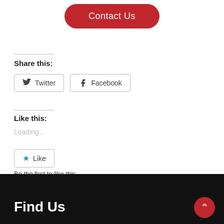[Figure (other): Red pill-shaped Contact Us button]
Share this:
[Figure (other): Twitter and Facebook share buttons]
Like this:
Loading...
[Figure (other): Like button with blue star icon]
Be the first to like this.
Find Us